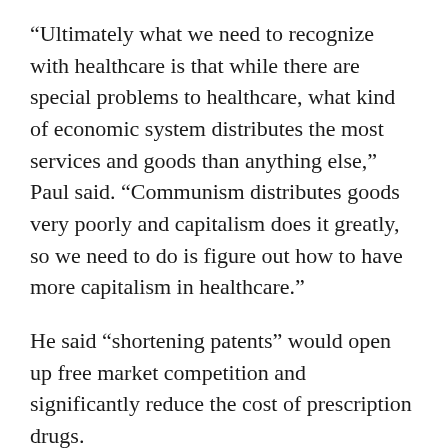“Ultimately what we need to recognize with healthcare is that while there are special problems to healthcare, what kind of economic system distributes the most services and goods than anything else,” Paul said. “Communism distributes goods very poorly and capitalism does it greatly, so we need to do is figure out how to have more capitalism in healthcare.”
He said “shortening patents” would open up free market competition and significantly reduce the cost of prescription drugs.
Paul also called for multi-year insurance, saying it would resolve the issue of individuals with pre-existing conditions.
Parents can purchase insurance during pregnancy for a very small amount for “unusual conditions that some kids are born with” making it affordable for all. “Not in...